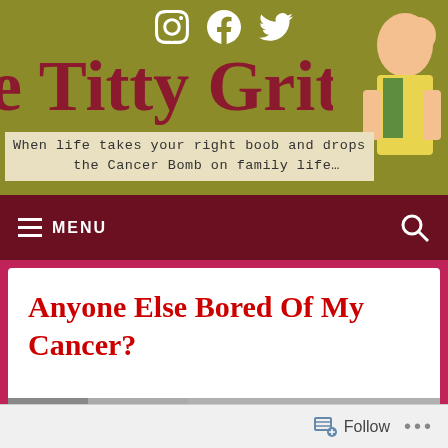The Titty Gritty — When life takes your right boob and drops the Cancer Bomb on family life…
Anyone Else Bored Of My Cancer?
[Figure (screenshot): Website header screenshot showing social media icons (Instagram, Facebook, Twitter), site title 'The Titty Gritty' in dark red on olive background, tagline, navigation bar with MENU and search icon, and article card with title 'Anyone Else Bored Of My Cancer?']